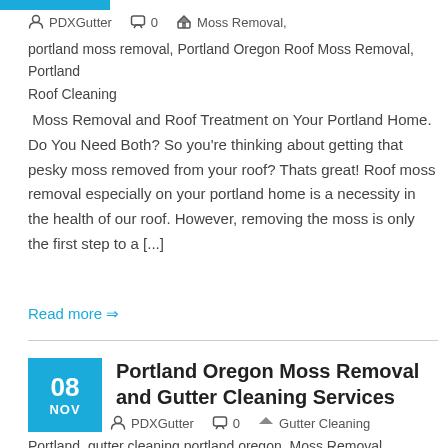PDXGutter   0   Moss Removal, portland moss removal, Portland Oregon Roof Moss Removal, Portland Roof Cleaning
Moss Removal and Roof Treatment on Your Portland Home. Do You Need Both? So you're thinking about getting that pesky moss removed from your roof? Thats great! Roof moss removal especially on your portland home is a necessity in the health of our roof. However, removing the moss is only the first step to a [...]
Read more ⇒
Portland Oregon Moss Removal and Gutter Cleaning Services
PDXGutter   0   Gutter Cleaning
Portland, gutter cleaning portland oregon, Moss Removal, portland